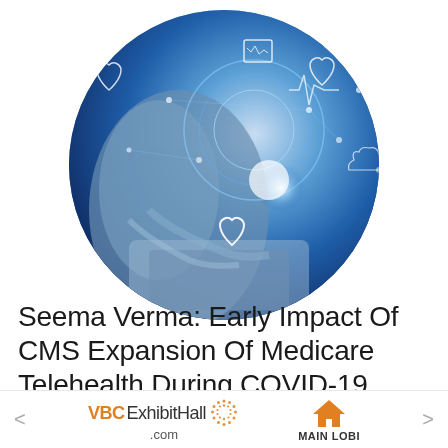[Figure (photo): Circular cropped photo of a person in blue scrubs holding a tablet, overlaid with digital health icons (hearts, ECG lines, wifi symbols) in a glowing blue network graphic]
Seema Verma: Early Impact Of CMS Expansion Of Medicare Telehealth During COVID-19
< VBCExhibitHall .com [dot-circle logo] [house icon] MAIN LOBI >